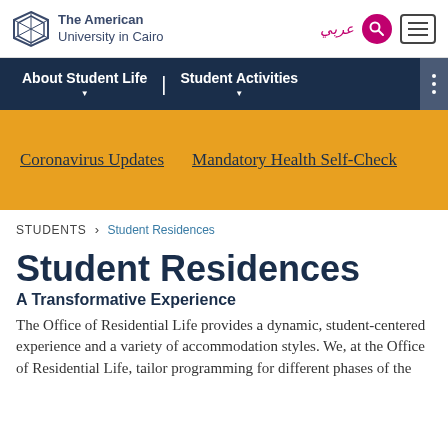The American University in Cairo
About Student Life | Student Activities
[Figure (infographic): Yellow banner with links: Coronavirus Updates, Mandatory Health Self-Check]
STUDENTS > Student Residences
Student Residences
A Transformative Experience
The Office of Residential Life provides a dynamic, student-centered experience and a variety of accommodation styles. We, at the Office of Residential Life, tailor programming for different phases of the